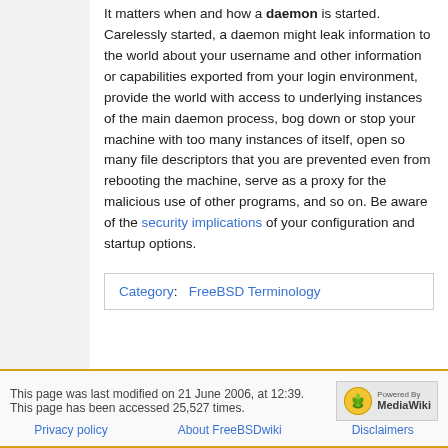It matters when and how a daemon is started. Carelessly started, a daemon might leak information to the world about your username and other information or capabilities exported from your login environment, provide the world with access to underlying instances of the main daemon process, bog down or stop your machine with too many instances of itself, open so many file descriptors that you are prevented even from rebooting the machine, serve as a proxy for the malicious use of other programs, and so on. Be aware of the security implications of your configuration and startup options.
| Category: | FreeBSD Terminology |
This page was last modified on 21 June 2006, at 12:39. This page has been accessed 25,527 times. Privacy policy About FreeBSDwiki Disclaimers